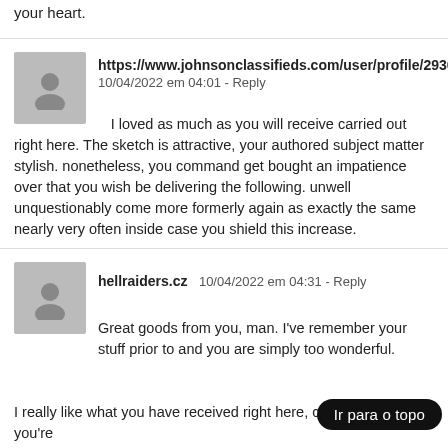your heart.
https://www.johnsonclassifieds.com/user/profile/2930914
10/04/2022 em 04:01 - Reply

I loved as much as you will receive carried out right here. The sketch is attractive, your authored subject matter stylish. nonetheless, you command get bought an impatience over that you wish be delivering the following. unwell unquestionably come more formerly again as exactly the same nearly very often inside case you shield this increase.
hellraiders.cz  10/04/2022 em 04:31 - Reply

Great goods from you, man. I've remember your stuff prior to and you are simply too wonderful. I really like what you have received right here, certainly like what you're stating and the best way through which you are it. You make it enjoyable and you continue to take care of to keep it smart. I can not wait to learn far more from you.
Ir para o topo